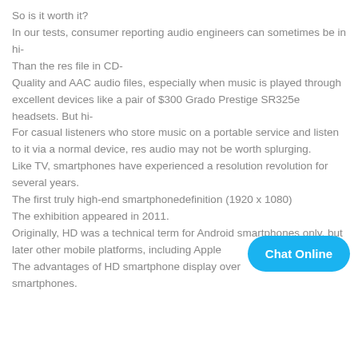So is it worth it? In our tests, consumer reporting audio engineers can sometimes be in hi- Than the res file in CD- Quality and AAC audio files, especially when music is played through excellent devices like a pair of $300 Grado Prestige SR325e headsets. But hi- For casual listeners who store music on a portable service and listen to it via a normal device, res audio may not be worth splurging. Like TV, smartphones have experienced a resolution revolution for several years. The first truly high-end smartphonedefinition (1920 x 1080) The exhibition appeared in 2011. Originally, HD was a technical term for Android smartphones only, but later other mobile platforms, including Apple... The advantages of HD smartphone display over... smartphones.